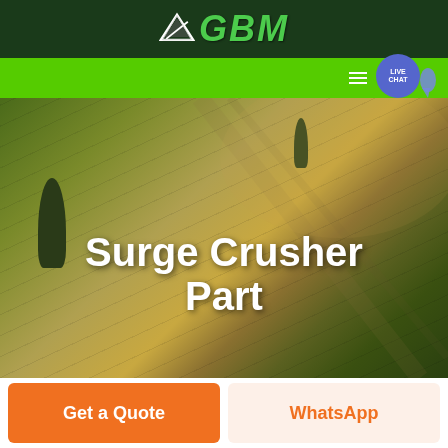[Figure (logo): GBM company logo with white arrow/triangle icon and green bold italic GBM text on dark green background]
[Figure (screenshot): Green navigation bar with hamburger menu icon and blue circular Live Chat button on right side]
[Figure (photo): Aerial photo of agricultural fields with green and yellow-brown terrain, cypress trees visible, dramatic lighting]
Surge Crusher Part
Get a Quote
WhatsApp